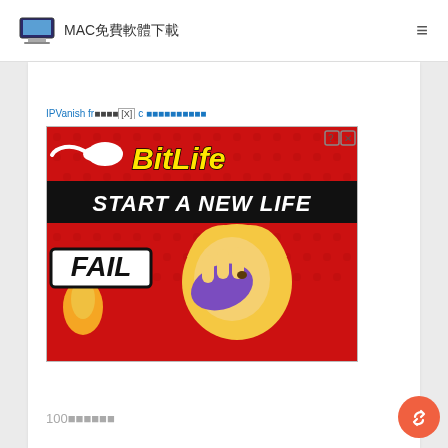MAC免費軟體下載
IPVanish fr[■■■■][X] c ■■■■■■■■■■
[Figure (screenshot): BitLife advertisement banner with sperm logo, yellow 'BitLife' text on red background, 'START A NEW LIFE' text on black banner, cartoon blonde girl doing facepalm with 'FAIL' label, red polka dot background]
100■■■■■■